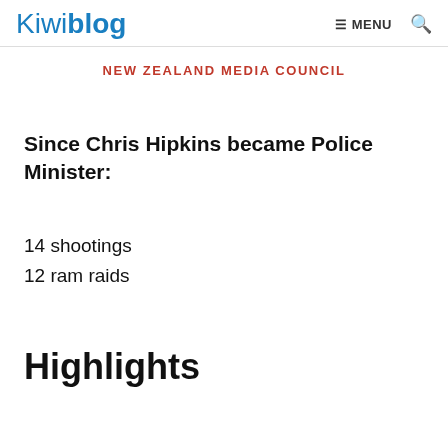Kiwiblog  ≡ MENU 🔍
NEW ZEALAND MEDIA COUNCIL
Since Chris Hipkins became Police Minister:
14 shootings
12 ram raids
Highlights